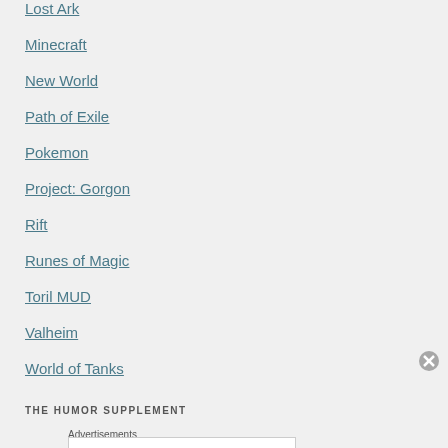Lost Ark
Minecraft
New World
Path of Exile
Pokemon
Project: Gorgon
Rift
Runes of Magic
Toril MUD
Valheim
World of Tanks
THE HUMOR SUPPLEMENT
Advertisements
[Figure (other): Bloomingdale's advertisement banner showing 'bloomingdales' logo with 'View Today's Top Deals!' text and 'SHOP NOW >' button, with an image of a woman in a hat]